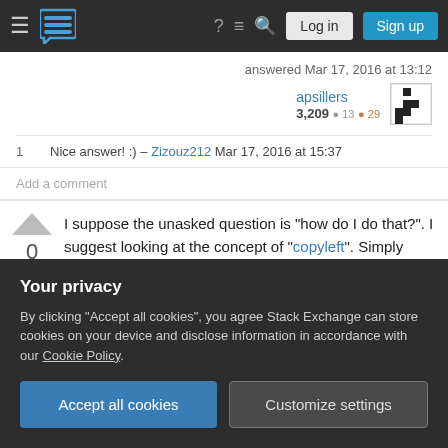Stack Exchange navigation bar with logo, hamburger menu, help, chat, search icons, Log in and Sign up buttons
answered Mar 17, 2016 at 13:12
apsillers 3,209 ● 13 ● 29
1   Nice answer! :) – Zizouz212 Mar 17, 2016 at 15:37
Add a comment
I suppose the unasked question is "how do I do that?". I suggest looking at the concept of "copyleft". Simply doing nothing is one option. Let's assume that you put the songs out there on the web
Your privacy
By clicking "Accept all cookies", you agree Stack Exchange can store cookies on your device and disclose information in accordance with our Cookie Policy.
Accept all cookies
Customize settings
intent). In other words, you do have to give